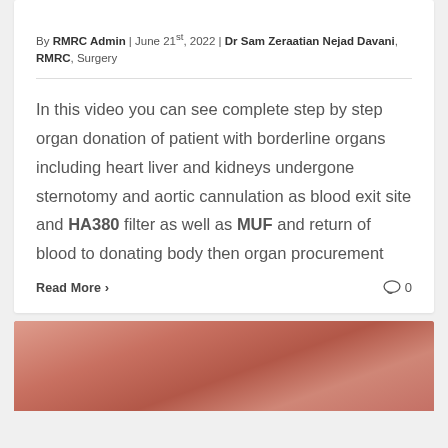By RMRC Admin | June 21st, 2022 | Dr Sam Zeraatian Nejad Davani, RMRC, Surgery
In this video you can see complete step by step organ donation of patient with borderline organs including heart liver and kidneys undergone sternotomy and aortic cannulation as blood exit site and HA380 filter as well as MUF and return of blood to donating body then organ procurement
Read More › 0
[Figure (photo): Partial view of a blurred medical/surgical photo showing reddish tissue, cropped at bottom of page]